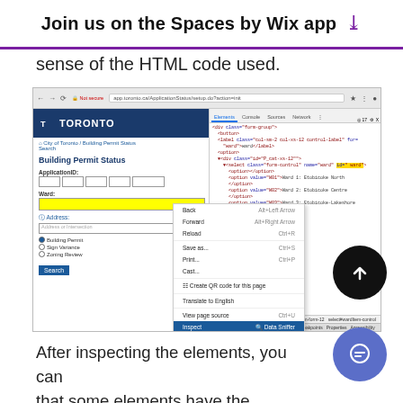Join us on the Spaces by Wix app
sense of the HTML code used.
[Figure (screenshot): Screenshot of Toronto city Building Permit Status Search page with browser DevTools open showing HTML source code, and a right-click context menu with 'Inspect' highlighted at the bottom.]
After inspecting the elements, you can see that some elements have the attribute id, some don't, and some have ids that change every time the page is refreshed. Finding elements by id is the most